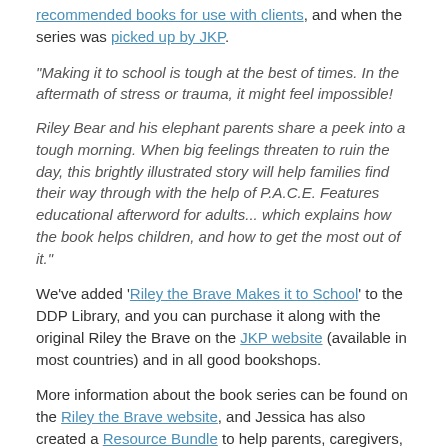recommended books for use with clients, and when the series was picked up by JKP.
“Making it to school is tough at the best of times. In the aftermath of stress or trauma, it might feel impossible!

Riley Bear and his elephant parents share a peek into a tough morning. When big feelings threaten to ruin the day, this brightly illustrated story will help families find their way through with the help of P.A.C.E. Features educational afterword for adults... which explains how the book helps children, and how to get the most out of it.”
We’ve added ‘Riley the Brave Makes it to School’ to the DDP Library, and you can purchase it along with the original Riley the Brave on the JKP website (available in most countries) and in all good bookshops.
More information about the book series can be found on the Riley the Brave website, and Jessica has also created a Resource Bundle to help parents, caregivers, schools and professionals.